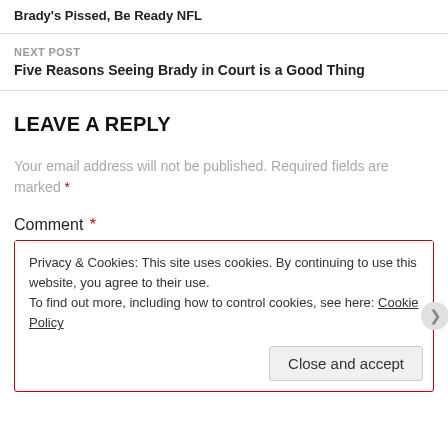Brady's Pissed, Be Ready NFL
NEXT POST
Five Reasons Seeing Brady in Court is a Good Thing
LEAVE A REPLY
Your email address will not be published. Required fields are marked *
Comment *
Privacy & Cookies: This site uses cookies. By continuing to use this website, you agree to their use. To find out more, including how to control cookies, see here: Cookie Policy
Close and accept